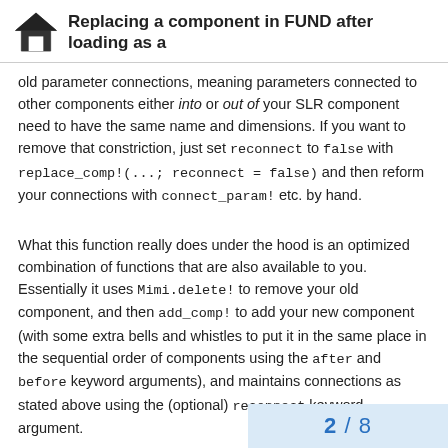Replacing a component in FUND after loading as a
old parameter connections, meaning parameters connected to other components either into or out of your SLR component need to have the same name and dimensions. If you want to remove that constriction, just set reconnect to false with replace_comp!(...; reconnect = false) and then reform your connections with connect_param! etc. by hand.
What this function really does under the hood is an optimized combination of functions that are also available to you. Essentially it uses Mimi.delete! to remove your old component, and then add_comp! to add your new component (with some extra bells and whistles to put it in the same place in the sequential order of components using the after and before keyword arguments), and maintains connections as stated above using the (optional) reconnect keyword argument.
2 / 8